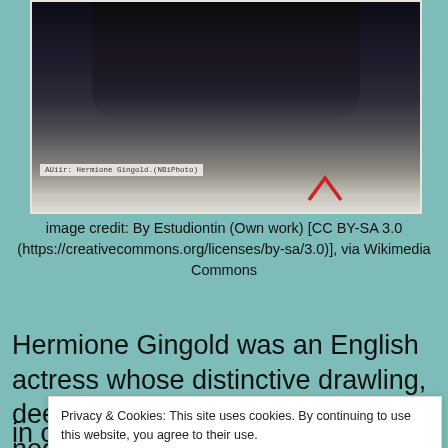[Figure (photo): Black and white photograph of Hermione Gingold, partially cropped, with a caption label visible at the bottom reading 'Hermione Gingold.(NBI Photo)' and a red arrow/chevron mark]
image credit: By Estudiontin (Own work) [CC BY-SA 3.0 (https://creativecommons.org/licenses/by-sa/3.0)], via Wikimedia Commons
Hermione Gingold was an English actress whose distinctive drawling, deep voice was a result of the nodes on her vocal cords she
Privacy & Cookies: This site uses cookies. By continuing to use this website, you agree to their use.
To find out more, including how to control cookies, see here: Cookie Policy
in comedy, drama and experimental theatre as